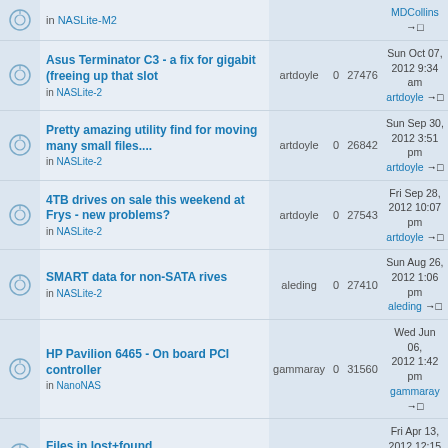|  | Topic | Author | Replies | Views | Last Post |
| --- | --- | --- | --- | --- | --- |
|  | MDCollins
→□
in NASLite-M2 | MDCollins |  |  |  |
|  | Asus Terminator C3 - a fix for gigabit (freeing up that slot
in NASLite-2 | artdoyle | 0 | 27476 | Sun Oct 07, 2012 9:34 am
artdoyle →□ |
|  | Pretty amazing utility find for moving many small files....
in NASLite-2 | artdoyle | 0 | 26842 | Sun Sep 30, 2012 3:51 pm
artdoyle →□ |
|  | 4TB drives on sale this weekend at Frys - new problems?
in NASLite-2 | artdoyle | 0 | 27543 | Fri Sep 28, 2012 10:07 pm
artdoyle →□ |
|  | SMART data for non-SATA rives
in NASLite-2 | aleding | 0 | 27410 | Sun Aug 26, 2012 1:06 pm
aleding →□ |
|  | HP Pavilion 6465 - On board PCI controller
in NanoNAS | gammaray | 0 | 31560 | Wed Jun 06, 2012 1:42 pm
gammaray →□ |
|  | Files in lost+found
in NASLite-M2 | aleding | 0 | 28082 | Fri Apr 13, 2012 12:15 pm
aleding →□ |
|  | NASLite-M2 ... |  |  |  |  |